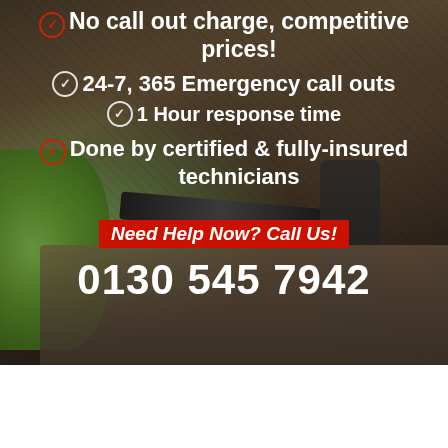[Figure (photo): Background photo of a technician wearing green gloves working on a drain or pipe with tools, in a dark outdoor/underground setting]
No call out charge, competitive prices!
24-7, 365 Emergency call outs
1 Hour response time
Done by certified & fully-insured technicians
Need Help Now? Call Us!
0130 545 7942